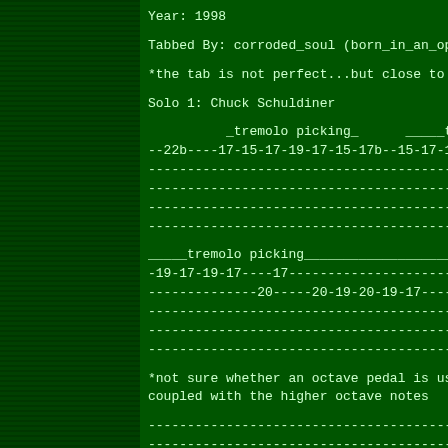Year: 1998
Tabbed By: corroded_soul (born_in_an_op
*the tab is not perfect...but close to
Solo 1: Chuck Schuldiner
_tremolo picking_      _____t
--22b----17-15-17-19-17-15-17b--15-17-19
----------------------------------------
----------------------------------------
----------------------------------------
----------------------------------------
_____tremolo picking________________
-19-17-19-17----17--------------------------
--------------20-----20-19-20-19-17---------
----------------------------------------16-14
----------------------------------------
----------------------------------------
*not sure whether an octave pedal is us
coupled with the higher octave notes
----------------------------------------
----------------------------------------